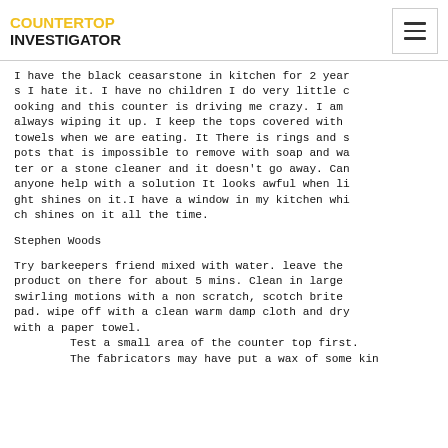COUNTERTOP INVESTIGATOR
I have the black ceasarstone in kitchen for 2 years I hate it. I have no children I do very little cooking and this counter is driving me crazy. I am always wiping it up. I keep the tops covered with towels when we are eating. It There is rings and spots that is impossible to remove with soap and water or a stone cleaner and it doesn't go away. Can anyone help with a solution It looks awful when light shines on it.I have a window in my kitchen which shines on it all the time.
Stephen Woods
Try barkeepers friend mixed with water. leave the product on there for about 5 mins. Clean in large swirling motions with a non scratch, scotch brite pad. wipe off with a clean warm damp cloth and dry with a paper towel.
    Test a small area of the counter top first.
    The fabricators may have put a wax of some kin